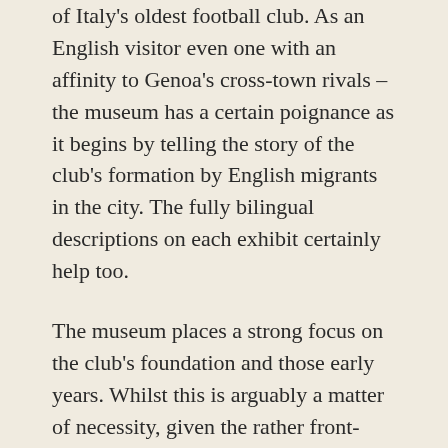of Italy's oldest football club. As an English visitor even one with an affinity to Genoa's cross-town rivals – the museum has a certain poignance as it begins by telling the story of the club's formation by English migrants in the city. The fully bilingual descriptions on each exhibit certainly help too.
The museum places a strong focus on the club's foundation and those early years. Whilst this is arguably a matter of necessity, given the rather front-loaded nature of the club's palmares, it is also a wise choice given the quality of artefacts they hold from this period. The original birth certificate of their founder – James Richardson Spensley, born 17th May 1867 in Stoke Newington – being a case in point.
The centerpiece of the first room is the Coppa D'Onore, the original Italian Championship trophy